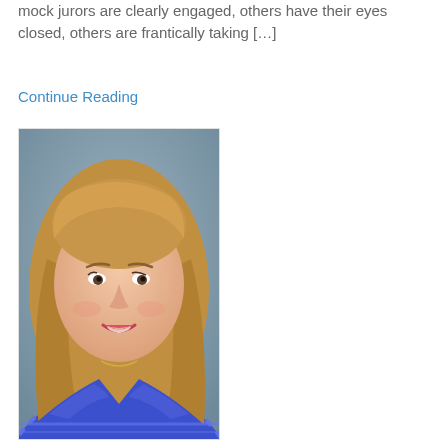mock jurors are clearly engaged, others have their eyes closed, others are frantically taking […]
Continue Reading
[Figure (photo): Professional headshot of a middle-aged woman with long straight blonde hair, smiling, wearing a blue and white striped shirt, with a light blue-gray background.]